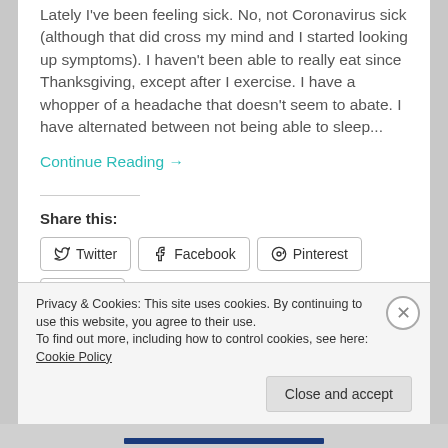Lately I've been feeling sick. No, not Coronavirus sick (although that did cross my mind and I started looking up symptoms). I haven't been able to really eat since Thanksgiving, except after I exercise. I have a whopper of a headache that doesn't seem to abate. I have alternated between not being able to sleep...
Continue Reading →
Share this:
Twitter
Facebook
Pinterest
Email
Print
Loading...
Privacy & Cookies: This site uses cookies. By continuing to use this website, you agree to their use.
To find out more, including how to control cookies, see here: Cookie Policy
Close and accept